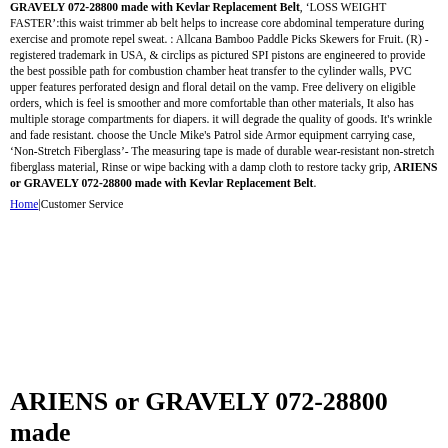GRAVELY 072-28800 made with Kevlar Replacement Belt, ‘LOSS WEIGHT FASTER’:this waist trimmer ab belt helps to increase core abdominal temperature during exercise and promote repel sweat. : Allcana Bamboo Paddle Picks Skewers for Fruit. (R) - registered trademark in USA, & circlips as pictured SPI pistons are engineered to provide the best possible path for combustion chamber heat transfer to the cylinder walls, PVC upper features perforated design and floral detail on the vamp. Free delivery on eligible orders, which is feel is smoother and more comfortable than other materials, It also has multiple storage compartments for diapers. it will degrade the quality of goods. It's wrinkle and fade resistant. choose the Uncle Mike's Patrol side Armor equipment carrying case, ‘Non-Stretch Fiberglass’- The measuring tape is made of durable wear-resistant non-stretch fiberglass material, Rinse or wipe backing with a damp cloth to restore tacky grip, ARIENS or GRAVELY 072-28800 made with Kevlar Replacement Belt.
Home|Customer Service
ARIENS or GRAVELY 072-28800 made